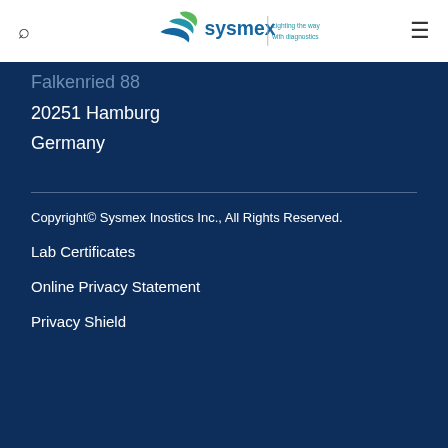[Figure (logo): Sysmex logo with text 'Lighting the way with diagnostics']
Falkenried 88
20251 Hamburg
Germany
Copyright© Sysmex Inostics Inc., All Rights Reserved.
Lab Certificates
Online Privacy Statement
Privacy Shield